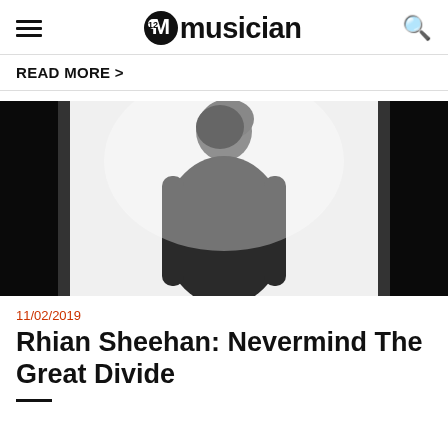musician
READ MORE >
[Figure (photo): A man in a dark long-sleeve top standing against a bright white background with dark vertical panels on either side, looking upward.]
11/02/2019
Rhian Sheehan: Nevermind The Great Divide